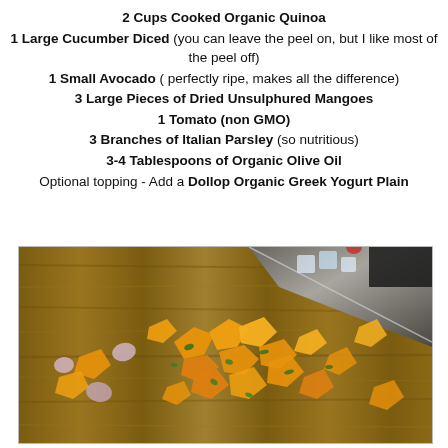2 Cups Cooked Organic Quinoa
1 Large Cucumber Diced (you can leave the peel on, but I like most of the peel off)
1 Small Avocado ( perfectly ripe, makes all the difference)
3 Large Pieces of Dried Unsulphured Mangoes
1 Tomato (non GMO)
3 Branches of Italian Parsley (so nutritious)
3-4 Tablespoons of Organic Olive Oil
Optional topping - Add a Dollop Organic Greek Yogurt Plain
[Figure (photo): Chopped dried mango pieces and herbs on a wooden cutting board with a large chef's knife visible in the upper right corner]